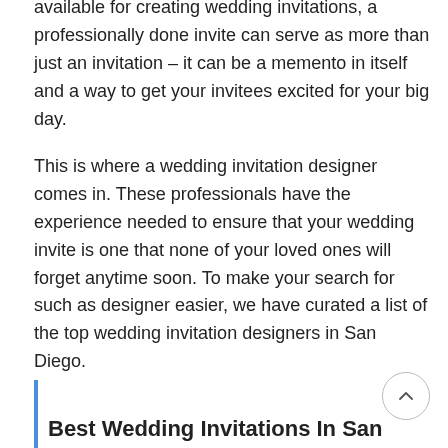available for creating wedding invitations, a professionally done invite can serve as more than just an invitation – it can be a memento in itself and a way to get your invitees excited for your big day.
This is where a wedding invitation designer comes in. These professionals have the experience needed to ensure that your wedding invite is one that none of your loved ones will forget anytime soon. To make your search for such as designer easier, we have curated a list of the top wedding invitation designers in San Diego.
Best Wedding Invitations In San